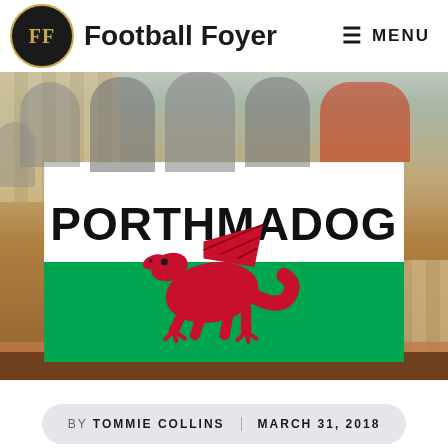Football Foyer — MENU
[Figure (photo): Group of fans holding a Welsh flag with 'PORTHMADOG' written on it, inside a stadium. The flag shows the Welsh dragon on a green and white background. People are smiling and holding the flag up. Stadium seats visible in the background.]
BY TOMMIE COLLINS   MARCH 31, 2018